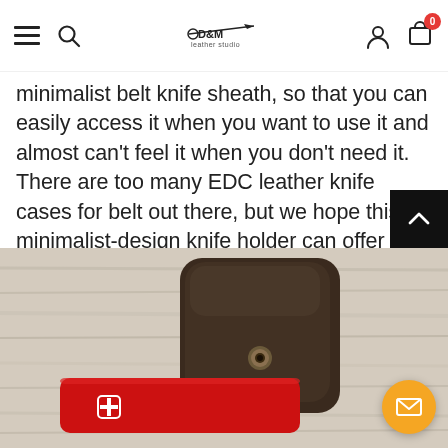Navigation bar with hamburger menu, search icon, D&M leather studio logo, user icon, and cart icon with badge 0
minimalist belt knife sheath, so that you can easily access it when you want to use it and almost can't feel it when you don't need it. There are too many EDC leather knife cases for belt out there, but we hope this minimalist-design knife holder can offer you portability and become a part of your life.
[Figure (photo): Close-up photo of a dark brown leather knife sheath with a metal snap button, resting on a weathered white wooden surface. A red Victorinox Swiss Army knife is partially inserted.]